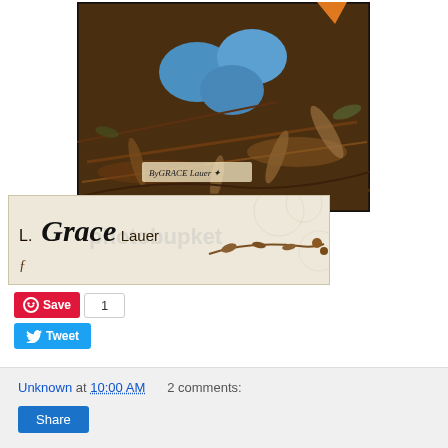[Figure (photo): Photograph of a bird nest with blue eggs and brown feathers, with a signature/watermark 'ByGRACE Lauer' in lower portion, framed with black border]
[Figure (photo): Signature banner image for L. Grace Lauer with decorative floral/vine elements on a beige/cream background, photobucket watermark visible]
Save 1
Tweet
Unknown at 10:00 AM   2 comments:
Share